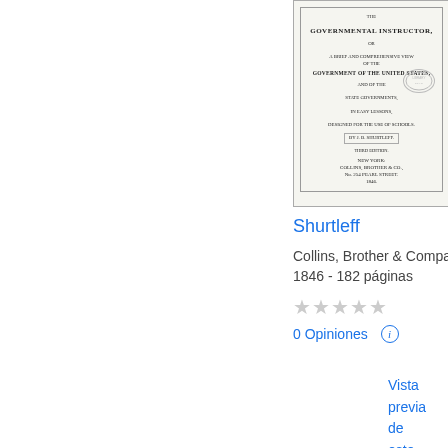[Figure (illustration): Scanned book cover of 'The Governmental Instructor' by J.B. Shurtleff, published by Collins, Brother & Co., New York, 1846. The cover shows the title page with decorative border, subtitle text, author name in a box, edition note, publisher details, and a library stamp. A page curl effect is visible at the bottom right corner.]
Shurtleff
Collins, Brother & Company,
1846 - 182 páginas
★★★★★
0 Opiniones ℹ
Vista previa de este libro »